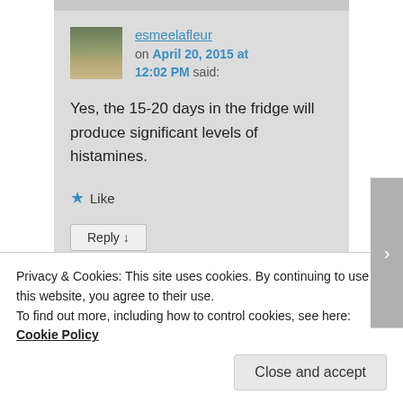esmeelafleur on April 20, 2015 at 12:02 PM said:
Yes, the 15-20 days in the fridge will produce significant levels of histamines.
★ Like
Reply ↓
Privacy & Cookies: This site uses cookies. By continuing to use this website, you agree to their use.
To find out more, including how to control cookies, see here: Cookie Policy
Close and accept